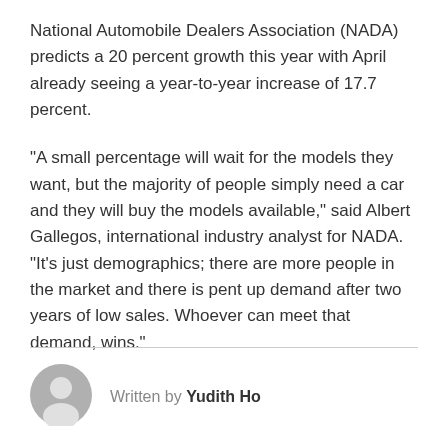National Automobile Dealers Association (NADA) predicts a 20 percent growth this year with April already seeing a year-to-year increase of 17.7 percent.
“A small percentage will wait for the models they want, but the majority of people simply need a car and they will buy the models available,” said Albert Gallegos, international industry analyst for NADA. “It’s just demographics; there are more people in the market and there is pent up demand after two years of low sales. Whoever can meet that demand, wins.”
Written by Yudith Ho